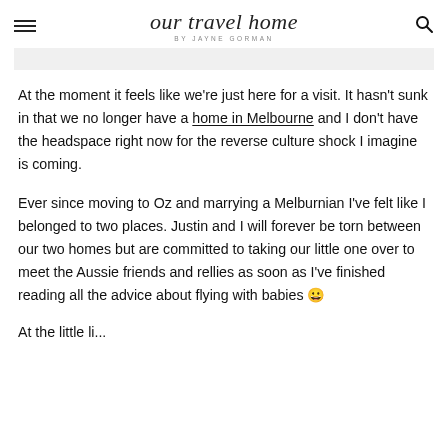our travel home by Jayne Gorman
At the moment it feels like we're just here for a visit. It hasn't sunk in that we no longer have a home in Melbourne and I don't have the headspace right now for the reverse culture shock I imagine is coming.
Ever since moving to Oz and marrying a Melburnian I've felt like I belonged to two places. Justin and I will forever be torn between our two homes but are committed to taking our little one over to meet the Aussie friends and rellies as soon as I've finished reading all the advice about flying with babies 😀
At the li...